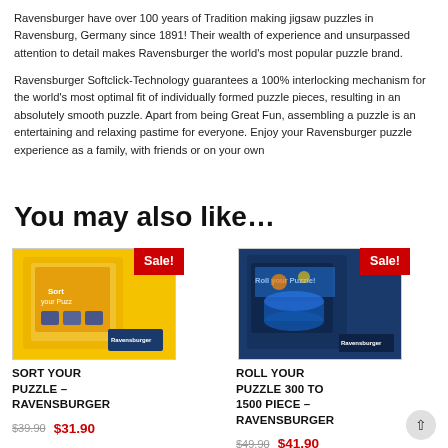Ravensburger have over 100 years of Tradition making jigsaw puzzles in Ravensburg, Germany since 1891! Their wealth of experience and unsurpassed attention to detail makes Ravensburger the world's most popular puzzle brand.
Ravensburger Softclick-Technology guarantees a 100% interlocking mechanism for the world's most optimal fit of individually formed puzzle pieces, resulting in an absolutely smooth puzzle. Apart from being Great Fun, assembling a puzzle is an entertaining and relaxing pastime for everyone. Enjoy your Ravensburger puzzle experience as a family, with friends or on your own
You may also like…
[Figure (photo): Sort Your Puzzle product box with yellow background, showing puzzle sorting trays. Red Sale badge in corner.]
SORT YOUR PUZZLE – RAVENSBURGER
$39.90  $31.90
[Figure (photo): Roll Your Puzzle product box showing puzzle mat being rolled up, dark blue background. Red Sale badge in corner.]
ROLL YOUR PUZZLE 300 TO 1500 PIECE – RAVENSBURGER
$49.90  $41.90